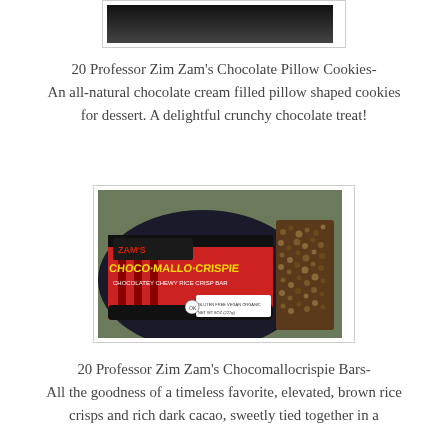[Figure (photo): Partial photo showing a dark background with what appears to be a chocolate treat, only the bottom portion visible]
20 Professor Zim Zam's Chocolate Pillow Cookies- An all-natural chocolate cream filled pillow shaped cookies for dessert. A delightful crunchy chocolate treat!
[Figure (photo): Photo of Professor Zim Zam's Chocomallocrispie Bar product packaging (red and black) next to a rice crisp chocolate bar on a dark surface outdoors]
20 Professor Zim Zam's Chocomallocrispie Bars- All the goodness of a timeless favorite, elevated, brown rice crisps and rich dark cacao, sweetly tied together in a